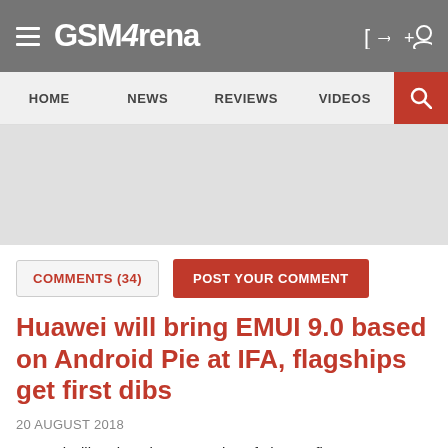GSMArena
[Figure (screenshot): GSMArena website navigation bar with HOME, NEWS, REVIEWS, VIDEOS menu items and red search button]
[Figure (other): Advertisement/banner area, gray placeholder]
COMMENTS (34)
POST YOUR COMMENT
Huawei will bring EMUI 9.0 based on Android Pie at IFA, flagships get first dibs
20 AUGUST 2018
Huawei will update the P20 series of phones first, says a company